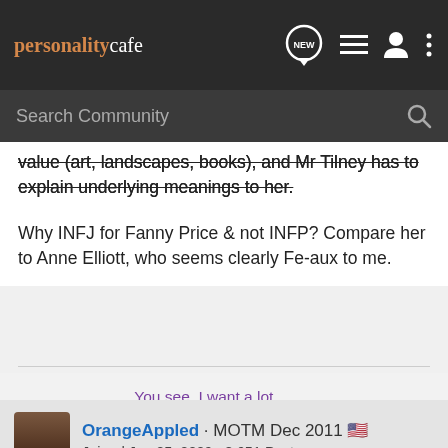personalitycafe
value (art, landscapes, books), and Mr Tilney has to explain underlying meanings to her.
Why INFJ for Fanny Price & not INFP? Compare her to Anne Elliott, who seems clearly Fe-aux to me.
You see, I want a lot.
Perhaps I want everything;
OrangeAppled · MOTM Dec 2011 🇺🇸
Joined Jun 25, 2009 · 8,651 Posts